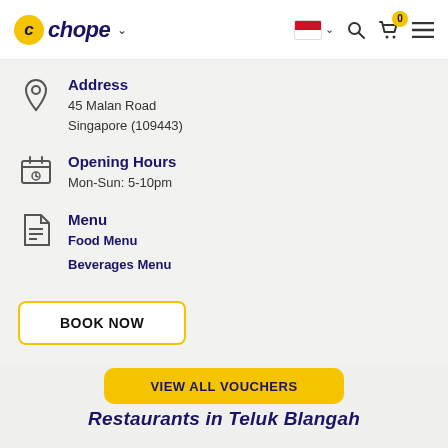Chope
Address
45 Malan Road
Singapore (109443)
Opening Hours
Mon-Sun: 5-10pm
Menu
Food Menu
Beverages Menu
BOOK NOW
VIEW ALL VOUCHERS
Restaurants in Teluk Blangah